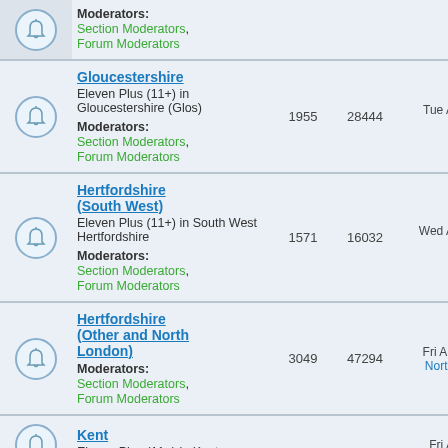|  | Forum | Topics | Posts | Last Post |
| --- | --- | --- | --- | --- |
| [icon] | Moderators: Section Moderators, Forum Moderators |  |  | Lmon22 → |
| [icon] | Gloucestershire
Eleven Plus (11+) in Gloucestershire (Glos)
Moderators: Section Moderators, Forum Moderators | 1955 | 28444 | Tue Aug 30, 2022 9:04
Llamoyt → |
| [icon] | Hertfordshire (South West)
Eleven Plus (11+) in South West Hertfordshire
Moderators: Section Moderators, Forum Moderators | 1571 | 16032 | Wed Aug 03, 2022 4:58
Daogroupie → |
| [icon] | Hertfordshire (Other and North London)
Moderators: Section Moderators, Forum Moderators | 3049 | 47294 | Fri Aug 26, 2022 11:33
NorthLondoncoffee → |
| [icon] | Kent
Eleven Plus (11+) in Kent | ... | ... | Fri Aug 19, 2022 3:13 |